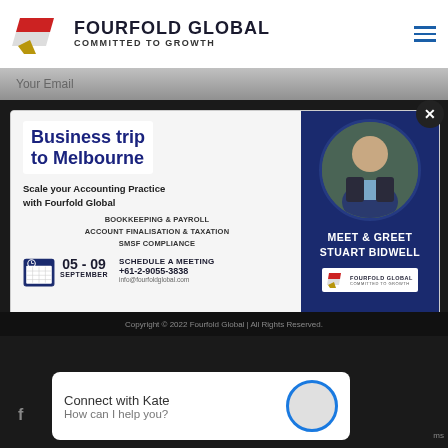FOURFOLD GLOBAL — COMMITTED TO GROWTH
[Figure (screenshot): Fourfold Global website popup showing a Business trip to Melbourne promotional flyer with meet & greet for Stuart Bidwell, scheduling details 05-09 September, contact +61-2-9055-3838, info@fourfoldglobal.com]
Copyright © 2022 Fourfold Global | All Rights Reserved.
Connect with Kate
How can I help you?